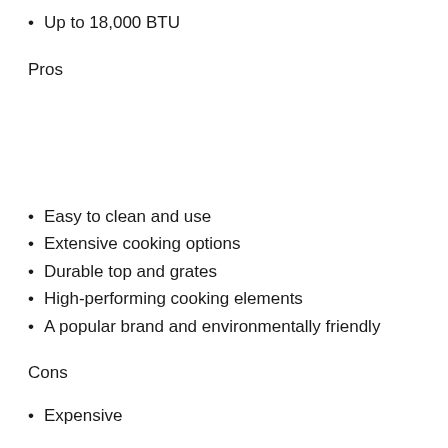Up to 18,000 BTU
Pros
Easy to clean and use
Extensive cooking options
Durable top and grates
High-performing cooking elements
A popular brand and environmentally friendly
Cons
Expensive